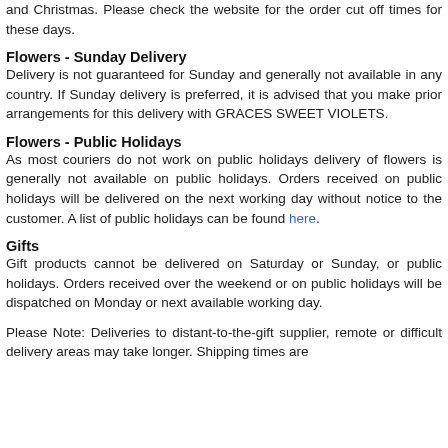and Christmas. Please check the website for the order cut off times for these days.
Flowers - Sunday Delivery
Delivery is not guaranteed for Sunday and generally not available in any country. If Sunday delivery is preferred, it is advised that you make prior arrangements for this delivery with GRACES SWEET VIOLETS.
Flowers - Public Holidays
As most couriers do not work on public holidays delivery of flowers is generally not available on public holidays. Orders received on public holidays will be delivered on the next working day without notice to the customer. A list of public holidays can be found here.
Gifts
Gift products cannot be delivered on Saturday or Sunday, or public holidays. Orders received over the weekend or on public holidays will be dispatched on Monday or next available working day.
Please Note: Deliveries to distant-to-the-gift supplier, remote or difficult delivery areas may take longer. Shipping times are